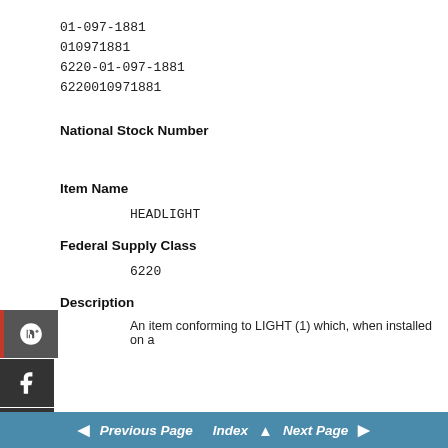01-097-1881
010971881
6220-01-097-1881
6220010971881
National Stock Number
Item Name
HEADLIGHT
Federal Supply Class
6220
Description
An item conforming to LIGHT (1) which, when installed on a
Previous Page  Index  Next Page